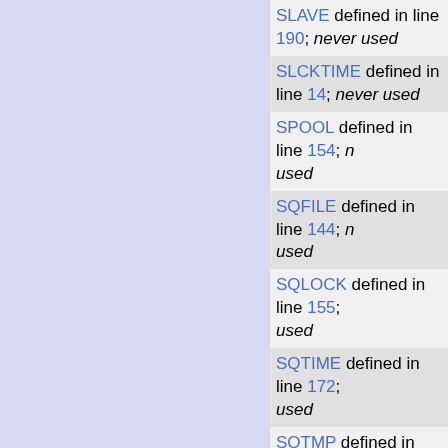SLAVE defined in line 190; never used
SLCKTIME defined in line 14; never used
SPOOL defined in line 154; never used
SQFILE defined in line 144; never used
SQLOCK defined in line 155; never used
SQTIME defined in line 172; never used
SQTMP defined in line 145; never used
SS_BADSEQ defined in line; never used
SS_CALLBACK defined in line 245; never used
SS_FAIL defined in line 243; never used